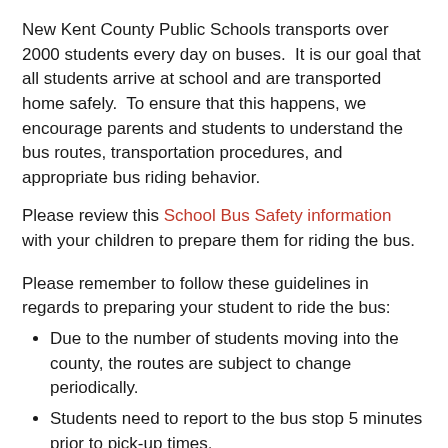New Kent County Public Schools transports over 2000 students every day on buses. It is our goal that all students arrive at school and are transported home safely. To ensure that this happens, we encourage parents and students to understand the bus routes, transportation procedures, and appropriate bus riding behavior.
Please review this School Bus Safety information with your children to prepare them for riding the bus.
Please remember to follow these guidelines in regards to preparing your student to ride the bus:
Due to the number of students moving into the county, the routes are subject to change periodically.
Students need to report to the bus stop 5 minutes prior to pick-up times.